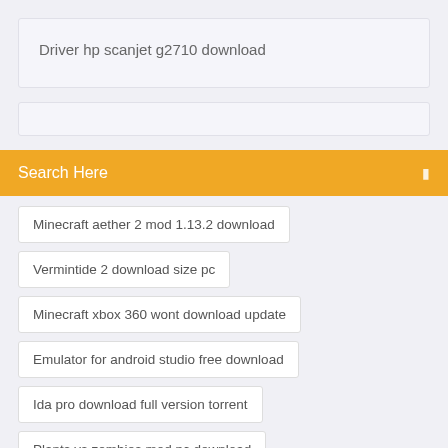Driver hp scanjet g2710 download
Search Here
Minecraft aether 2 mod 1.13.2 download
Vermintide 2 download size pc
Minecraft xbox 360 wont download update
Emulator for android studio free download
Ida pro download full version torrent
Plants vs zombies mod pc download